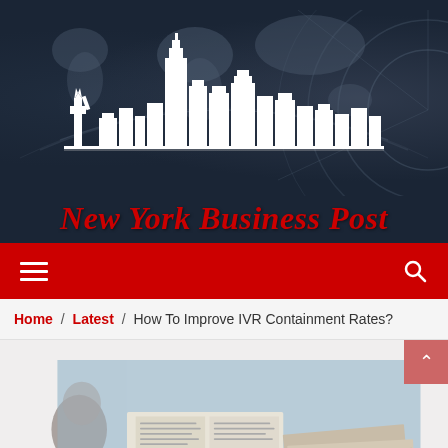[Figure (logo): New York Business Post logo with white NYC skyline silhouette including Statue of Liberty against dark background with world map overlay]
New York Business Post
Navigation bar with hamburger menu and search icon
Home / Latest / How To Improve IVR Containment Rates?
[Figure (photo): Partial photo of a person reading newspaper, blurred/cropped article image]